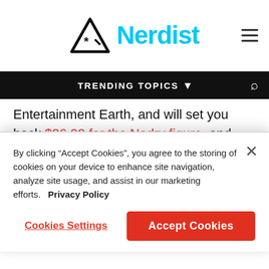Nerdist
TRENDING TOPICS
Entertainment Earth, and will set you back $26.99 for the Nedry figure, and $31.00 for the Dilophosaurus. You don't want to wait 65 million years to get these.
Featured Image: Universal Pictures
ADVERTISEMENT
[Figure (photo): Little Demon FX advertisement banner with Aubrey Plaza, Lucy DeVito, Danny DeVito]
By clicking "Accept Cookies", you agree to the storing of cookies on your device to enhance site navigation, analyze site usage, and assist in our marketing efforts.   Privacy Policy
Cookies Settings
Accept Cookies